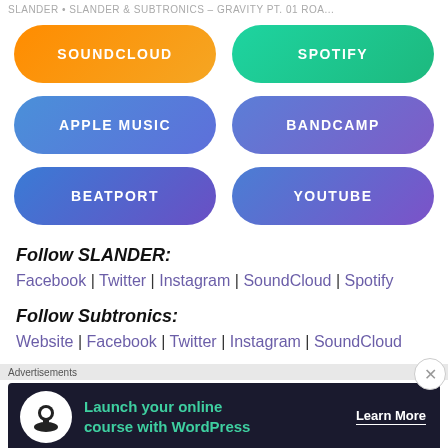SLANDER • SLANDER & SUBTRONICS – GRAVITY PT. 01 ROA...
[Figure (other): Six music platform buttons in a 2x3 grid: SOUNDCLOUD (orange), SPOTIFY (green), APPLE MUSIC (blue), BANDCAMP (blue-purple), BEATPORT (blue-purple), YOUTUBE (blue-purple)]
Follow SLANDER:
Facebook | Twitter | Instagram | SoundCloud | Spotify
Follow Subtronics:
Website | Facebook | Twitter | Instagram | SoundCloud
Advertisements
[Figure (infographic): Ad banner: dark background with white circle icon, green text 'Launch your online course with WordPress', white 'Learn More' CTA button]